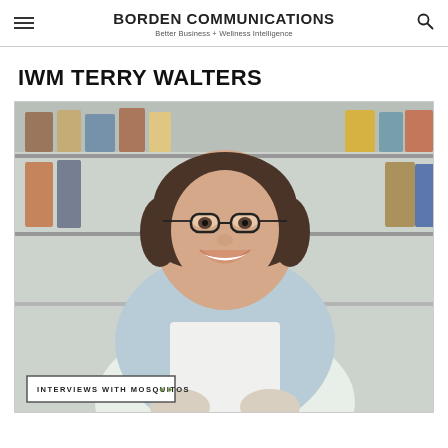BORDEN COMMUNICATIONS
Better Business + Wellness Intelligence
IWM TERRY WALTERS
[Figure (photo): Photo of Terry Walters smiling, wearing glasses and an apron, standing in front of pantry shelves stocked with jars and cans. An overlay tag reads 'INTERVIEWS WITH MOSQUITOS'.]